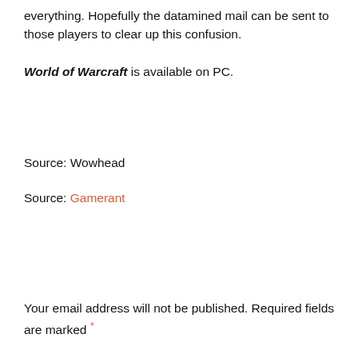everything. Hopefully the datamined mail can be sent to those players to clear up this confusion.
World of Warcraft is available on PC.
Source: Wowhead
Source: Gamerant
Your email address will not be published. Required fields are marked *